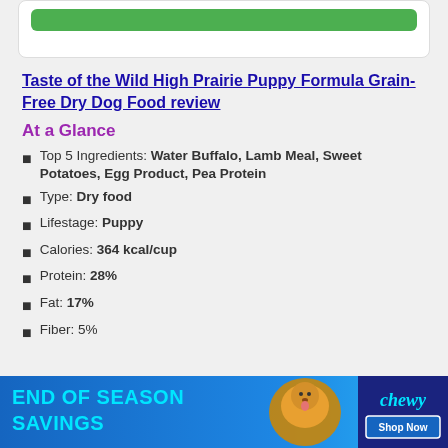Taste of the Wild High Prairie Puppy Formula Grain-Free Dry Dog Food review
At a Glance
Top 5 Ingredients: Water Buffalo, Lamb Meal, Sweet Potatoes, Egg Product, Pea Protein
Type: Dry food
Lifestage: Puppy
Calories: 364 kcal/cup
Protein: 28%
Fat: 17%
Fiber: 5%
[Figure (infographic): Chewy END OF SEASON SAVINGS advertisement banner with a dog image and Shop Now button]